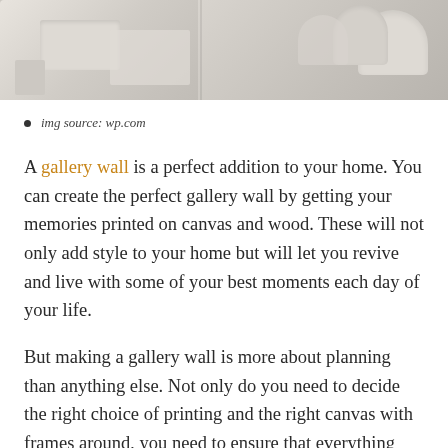[Figure (photo): Partial view of a light grey upholstered sofa/couch, top portion cropped, showing cushions and pillows in a neutral interior setting.]
img source: wp.com
A gallery wall is a perfect addition to your home. You can create the perfect gallery wall by getting your memories printed on canvas and wood. These will not only add style to your home but will let you revive and live with some of your best moments each day of your life.
But making a gallery wall is more about planning than anything else. Not only do you need to decide the right choice of printing and the right canvas with frames around, you need to ensure that everything settles in. if your frame is pink in a room full of burgundy brown, you bet that the picture is not going to be a pleasure to look at, no matter